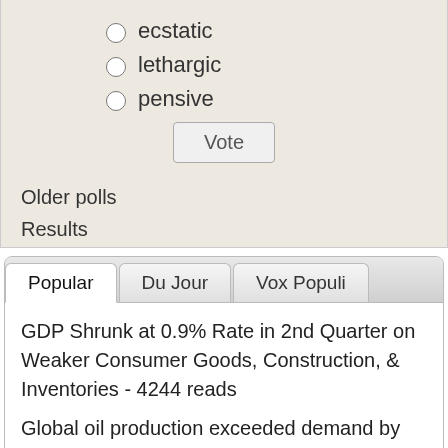ecstatic
lethargic
pensive
Vote
Older polls
Results
Popular | Du Jour | Vox Populi
GDP Shrunk at 0.9% Rate in 2nd Quarter on Weaker Consumer Goods, Construction, & Inventories - 4244 reads
Global oil production exceeded demand by 1,490,000 barrels per day in June - 1768 reads
US oil exports at a record high, oil supplies at a 18 year low, SPR at a 37 year low - 1471 reads